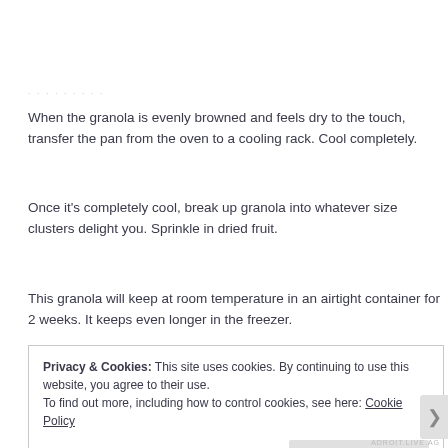When the granola is evenly browned and feels dry to the touch, transfer the pan from the oven to a cooling rack. Cool completely.
Once it's completely cool, break up granola into whatever size clusters delight you. Sprinkle in dried fruit.
This granola will keep at room temperature in an airtight container for 2 weeks. It keeps even longer in the freezer.
Privacy & Cookies: This site uses cookies. By continuing to use this website, you agree to their use. To find out more, including how to control cookies, see here: Cookie Policy
Close and accept